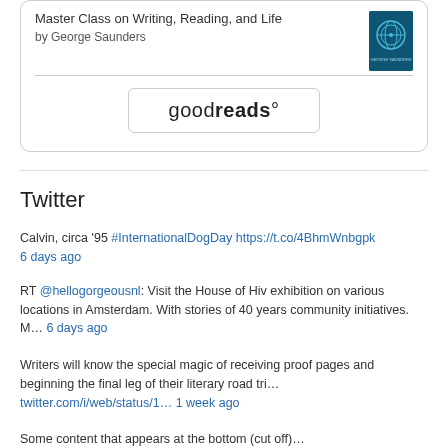[Figure (other): Goodreads widget showing book 'Master Class on Writing, Reading, and Life' by George Saunders with a book cover image and Goodreads button]
Twitter
Calvin, circa ’95 #InternationalDogDay https://t.co/4BhmWnbgpk 6 days ago
RT @hellogorgeousnl: Visit the House of Hiv exhibition on various locations in Amsterdam. With stories of 40 years community initiatives. M… 6 days ago
Writers will know the special magic of receiving proof pages and beginning the final leg of their literary road tri… twitter.com/i/web/status/1… 1 week ago
Some content at bottom (partial, cut off)